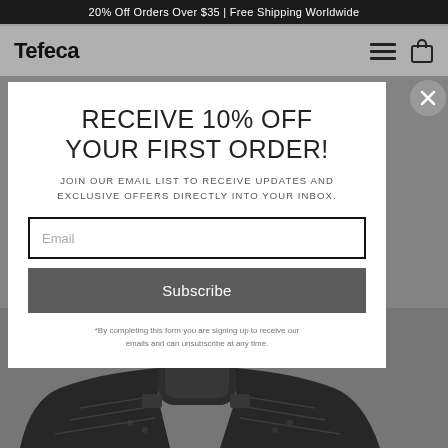20% Off Orders Over $35 | Free Shipping Worldwide
Tefeca
RECEIVE 10% OFF YOUR FIRST ORDER!
JOIN OUR EMAIL LIST TO RECEIVE UPDATES AND EXCLUSIVE OFFERS DIRECTLY INTO YOUR INBOX.
Email
Subscribe
*By completing this form you are signing up to receive our emails and can unsubscribe at any time.
[Figure (photo): Apple Watch with dark braided solo loop band, partial view showing the watch face and band texture against a gray background]